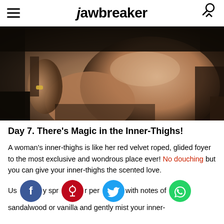jawbreaker
[Figure (photo): Close-up photo of a woman's inner thighs in a car, wearing dark clothing, with one hand visible wearing a ring.]
Day 7. There’s Magic in the Inner-Thighs!
A woman’s inner-thighs is like her red velvet roped, glided foyer to the most exclusive and wondrous place ever! No douching but you can give your inner-thighs the scented love.
Use a spray perfume with notes of sandalwood or vanilla and gently mist your inner-